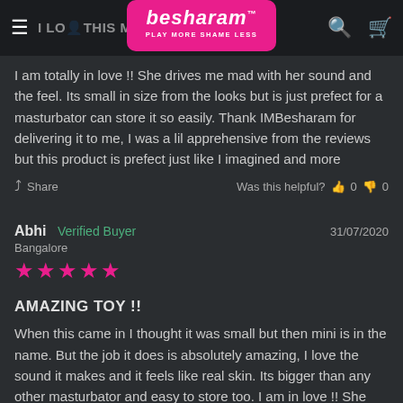I LOVE THIS MINI ... besharam PLAY MORE SHAME LESS
I am totally in love !! She drives me mad with her sound and the feel. Its small in size from the looks but is just prefect for a masturbator can store it so easily. Thank IMBesharam for delivering it to me, I was a lil apprehensive from the reviews but this product is prefect just like I imagined and more
Share   Was this helpful? 0  0
Abhi  Verified Buyer   31/07/2020
Bangalore
★★★★★
AMAZING TOY !!
When this came in I thought it was small but then mini is in the name. But the job it does is absolutely amazing, I love the sound it makes and it feels like real skin. Its bigger than any other masturbator and easy to store too. I am in love !! She drives me crazy